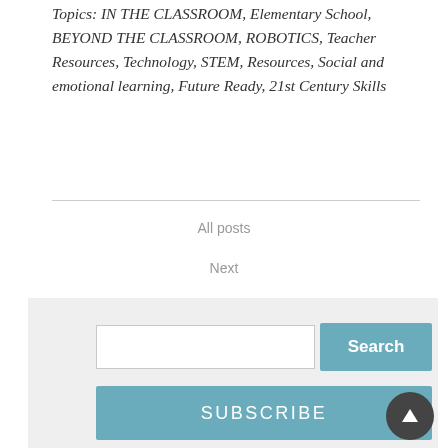Topics: IN THE CLASSROOM, Elementary School, BEYOND THE CLASSROOM, ROBOTICS, Teacher Resources, Technology, STEM, Resources, Social and emotional learning, Future Ready, 21st Century Skills
All posts
Next
[Figure (screenshot): Search input box and Search button]
[Figure (screenshot): SUBSCRIBE button]
Categories
Administration